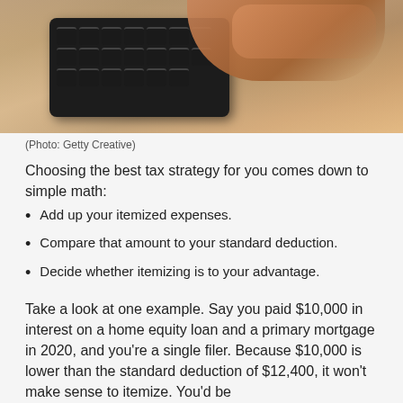[Figure (photo): Hands typing on a calculator keyboard on a wooden desk, with a laptop in the background.]
(Photo: Getty Creative)
Choosing the best tax strategy for you comes down to simple math:
Add up your itemized expenses.
Compare that amount to your standard deduction.
Decide whether itemizing is to your advantage.
Take a look at one example. Say you paid $10,000 in interest on a home equity loan and a primary mortgage in 2020, and you're a single filer. Because $10,000 is lower than the standard deduction of $12,400, it won't make sense to itemize. You'd be